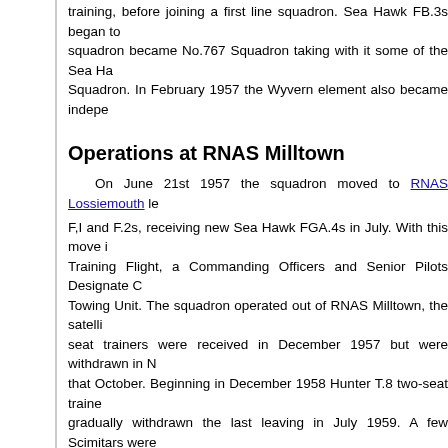training, before joining a first line squadron. Sea Hawk FB.3s began to... squadron became No.767 Squadron taking with it some of the Sea Ha... Squadron. In February 1957 the Wyvern element also became indepen...
Operations at RNAS Milltown
On June 21st 1957 the squadron moved to RNAS Lossiemouth le... F,I and F.2s, receiving new Sea Hawk FGA.4s in July. With this move i... Training Flight, a Commanding Officers and Senior Pilots Designate C... Towing Unit. The squadron operated out of RNAS Milltown, the satelli... seat trainers were received in December 1957 but were withdrawn in N... that October. Beginning in December 1958 Hunter T.8 two-seat traine... gradually withdrawn the last leaving in July 1959. A few Scimitars were... May and by August the squadron equipment comprised 12 Hunter T.8s...
The squadron's main task changed again from March 1959, its ma... the Commanding Officers and Senior Pilots Designates Course was re... Conversion to Hunter T.8s. From July 1962 some of the Hunter T.8s w... were later converted to PR.11s. Three Hunter T.8Bs arrived in 1968, a...
On March 26th 1965 No.764B Squadron was formed from the rem... operating Scimitars as part of the Naval Air Warfare and Strike School... same day 736 reformed and reequipped with Buccaneer S.1s from 80... Worth RN, 764B had been formed solely to train Airwork pilots to fly th... completion of this task.
Squadron Disbanded